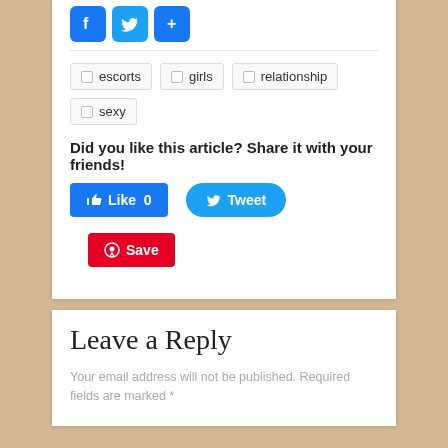[Figure (infographic): Social media share icons: Facebook, Twitter, and a share button in blue]
escorts
girls
relationship
sexy
Did you like this article? Share it with your friends!
[Figure (infographic): Facebook Like button showing 0 likes and Twitter Tweet button]
[Figure (infographic): Pinterest Save button in red]
Leave a Reply
Your email address will not be published. Required fields are marked *